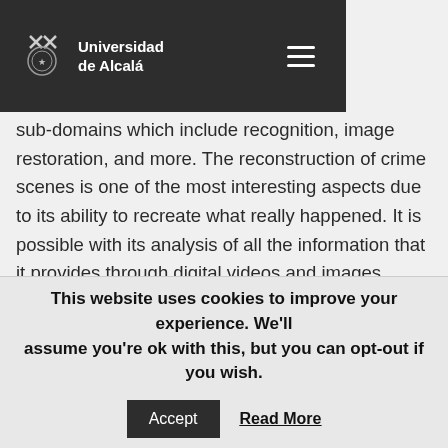Universidad de Alcalá
sub-domains which include recognition, image restoration, and more. The reconstruction of crime scenes is one of the most interesting aspects due to its ability to recreate what really happened. It is possible with its analysis of all the information that it provides through digital videos and images.
With artificial intelligence, computer vision is able to provide information about the environment. That could be very useful when it acts as a vision sensor with learning techniques and pattern recognition. This characteristic can solve problems in fields such as architecture. We can see the main applications of computer vision in: identification tasks, computer-human interaction, navigation in the automotive industry, organization of information, or controlling
This website uses cookies to improve your experience. We'll assume you're ok with this, but you can opt-out if you wish. Accept Read More